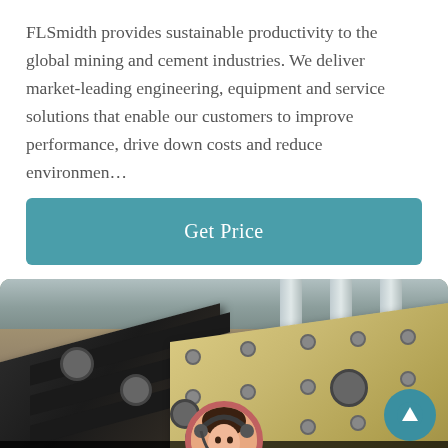FLSmidth provides sustainable productivity to the global mining and cement industries. We deliver market-leading engineering, equipment and service solutions that enable our customers to improve performance, drive down costs and reduce environmen…
Get Price
[Figure (photo): Industrial mining/cement machinery in a large factory — heavy vibrating screen or conveyor equipment with black and beige/yellow colored panels, bolts and sprocket mechanisms, set against a factory interior with structural pillars. Bottom overlay shows Leave Message and Chat Online buttons with a customer service avatar.]